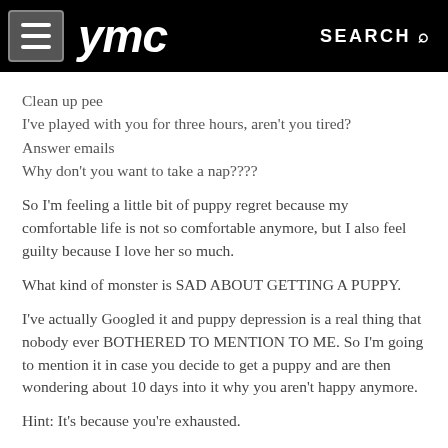ymc | SEARCH
Clean up pee
I've played with you for three hours, aren't you tired?
Answer emails
Why don't you want to take a nap????
So I'm feeling a little bit of puppy regret because my comfortable life is not so comfortable anymore, but I also feel guilty because I love her so much.
What kind of monster is SAD ABOUT GETTING A PUPPY.
I've actually Googled it and puppy depression is a real thing that nobody ever BOTHERED TO MENTION TO ME. So I'm going to mention it in case you decide to get a puppy and are then wondering about 10 days into it why you aren't happy anymore.
Hint: It's because you're exhausted.
But I will also say that you are going to love this puppy more